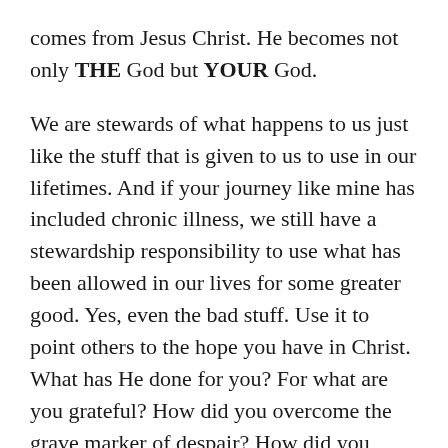comes from Jesus Christ. He becomes not only THE God but YOUR God.
We are stewards of what happens to us just like the stuff that is given to us to use in our lifetimes. And if your journey like mine has included chronic illness, we still have a stewardship responsibility to use what has been allowed in our lives for some greater good. Yes, even the bad stuff. Use it to point others to the hope you have in Christ. What has He done for you? For what are you grateful? How did you overcome the grave marker of despair? How did you come to understand that the Lord is not Santa Claus and that bad things happen to good people in a fallen, imperfect world? And how did you become o.k. with all of that?
So what then about the meme above? What if others